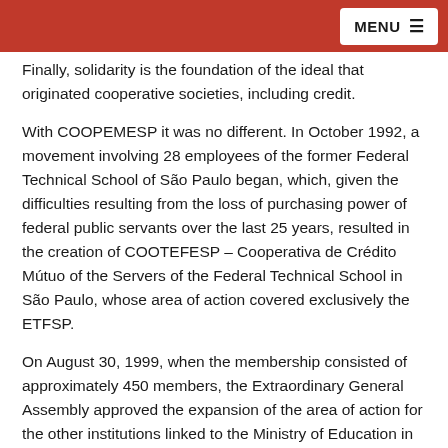MENU
Finally, solidarity is the foundation of the ideal that originated cooperative societies, including credit.
With COOPEMESP it was no different. In October 1992, a movement involving 28 employees of the former Federal Technical School of São Paulo began, which, given the difficulties resulting from the loss of purchasing power of federal public servants over the last 25 years, resulted in the creation of COOTEFESP – Cooperativa de Crédito Mútuo of the Servers of the Federal Technical School in São Paulo, whose area of action covered exclusively the ETFSP.
On August 30, 1999, when the membership consisted of approximately 450 members, the Extraordinary General Assembly approved the expansion of the area of action for the other institutions linked to the Ministry of Education in